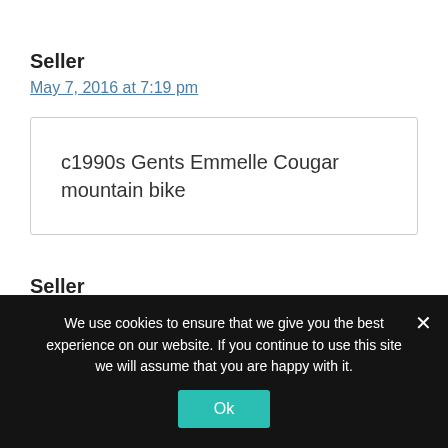Seller
May 7, 2016 at 7:19 pm
c1990s Gents Emmelle Cougar mountain bike
Seller
We use cookies to ensure that we give you the best experience on our website. If you continue to use this site we will assume that you are happy with it.